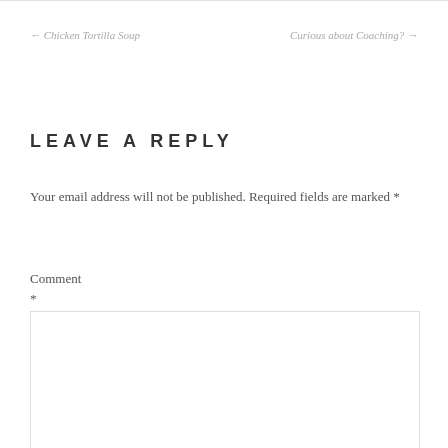← Chicken Tortilla Soup    Curious about Coaching? →
LEAVE A REPLY
Your email address will not be published. Required fields are marked *
Comment
*